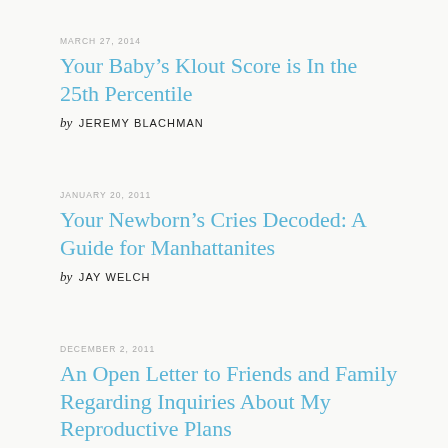MARCH 27, 2014
Your Baby’s Klout Score is In the 25th Percentile
by JEREMY BLACHMAN
JANUARY 20, 2011
Your Newborn’s Cries Decoded: A Guide for Manhattanites
by JAY WELCH
DECEMBER 2, 2011
An Open Letter to Friends and Family Regarding Inquiries About My Reproductive Plans